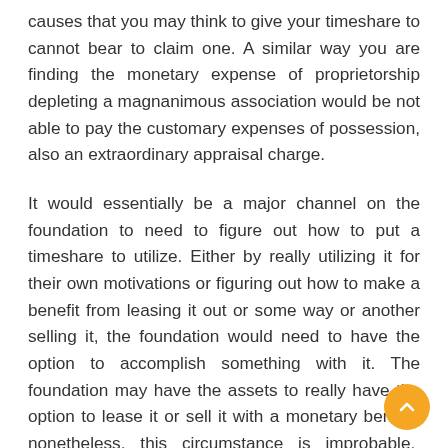causes that you may think to give your timeshare to cannot bear to claim one. A similar way you are finding the monetary expense of proprietorship depleting a magnanimous association would be not able to pay the customary expenses of possession, also an extraordinary appraisal charge.
It would essentially be a major channel on the foundation to need to figure out how to put a timeshare to utilize. Either by really utilizing it for their own motivations or figuring out how to make a benefit from leasing it out or some way or another selling it, the foundation would need to have the option to accomplish something with it. The foundation may have the assets to really have the option to lease it or sell it with a monetary benefit; nonetheless, this circumstance is improbable. Another integral motivation behind why it is about